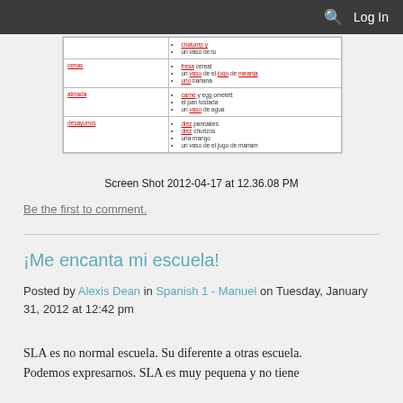Log In
[Figure (table-as-image): A screenshot of a Spanish food/meal table with rows labeled 'cenas', 'almada', 'desayunos' with bullet-pointed food items in red/underlined text]
Screen Shot 2012-04-17 at 12.36.08 PM
Be the first to comment.
¡Me encanta mi escuela!
Posted by Alexis Dean in Spanish 1 - Manuel on Tuesday, January 31, 2012 at 12:42 pm
SLA es no normal escuela. Su diferente a otras escuela. Podemos expresarnos. SLA es muy pequena y no tiene